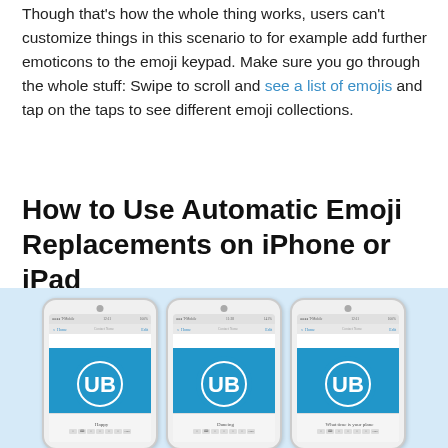Though that's how the whole thing works, users can't customize things in this scenario to for example add further emoticons to the emoji keypad. Make sure you go through the whole stuff: Swipe to scroll and see a list of emojis and tap on the taps to see different emoji collections.
How to Use Automatic Emoji Replacements on iPhone or iPad
[Figure (photo): Three iPhone screenshots side by side on a light blue background, each showing a UB (blue circle with letters UB) app screen. The phones show the iMessage interface with emoji keyboard at the bottom. Labels beneath the phones appear to say 'Happy', 'Dancing', and 'What time is your plane'.]